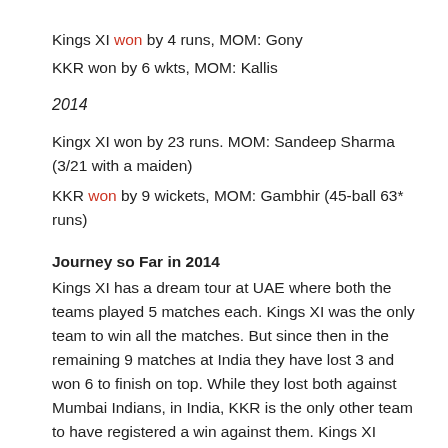Kings XI won by 4 runs, MOM: Gony
KKR won by 6 wkts, MOM: Kallis
2014
Kingx XI won by 23 runs. MOM: Sandeep Sharma (3/21 with a maiden)
KKR won by 9 wickets, MOM: Gambhir (45-ball 63* runs)
Journey so Far in 2014
Kings XI has a dream tour at UAE where both the teams played 5 matches each. Kings XI was the only team to win all the matches. But since then in the remaining 9 matches at India they have lost 3 and won 6 to finish on top. While they lost both against Mumbai Indians, in India, KKR is the only other team to have registered a win against them. Kings XI Punjab of 2014 is known for scoring big, with the best run rate among all teams. They have also won all the matches in which they chased.